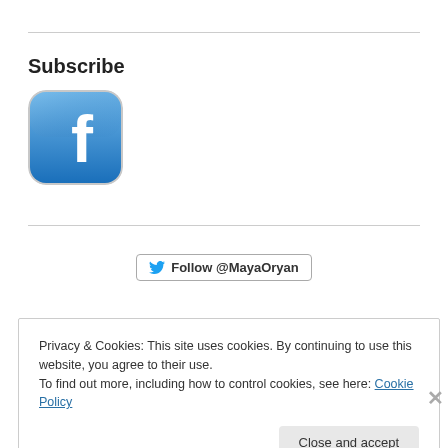Subscribe
[Figure (logo): Facebook app icon — rounded square with blue gradient background and white lowercase 'f' logo]
[Figure (other): Twitter Follow button with bird icon: Follow @MayaOryan]
Privacy & Cookies: This site uses cookies. By continuing to use this website, you agree to their use.
To find out more, including how to control cookies, see here: Cookie Policy
Close and accept